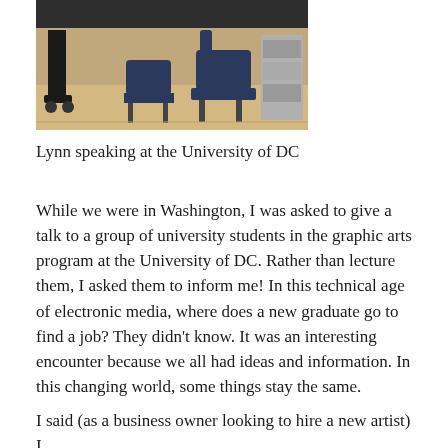[Figure (photo): Photo of Lynn speaking at the University of DC — a room with chairs and equipment visible]
Lynn speaking at the University of DC
While we were in Washington, I was asked to give a talk to a group of university students in the graphic arts program at the University of DC. Rather than lecture them, I asked them to inform me! In this technical age of electronic media, where does a new graduate go to find a job? They didn't know. It was an interesting encounter because we all had ideas and information. In this changing world, some things stay the same.
I said (as a business owner looking to hire a new artist) I had been doing my own research and hiring to start over with